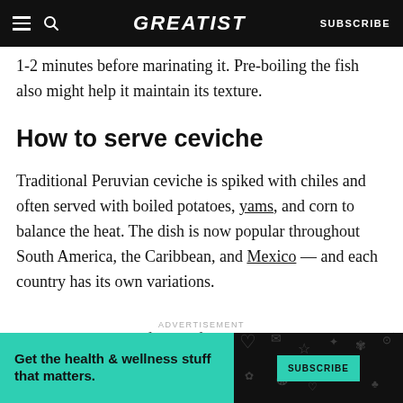GREATIST | SUBSCRIBE
1-2 minutes before marinating it. Pre-boiling the fish also might help it maintain its texture.
How to serve ceviche
Traditional Peruvian ceviche is spiked with chiles and often served with boiled potatoes, yams, and corn to balance the heat. The dish is now popular throughout South America, the Caribbean, and Mexico — and each country has its own variations.
To approximate the flavor of pre-Hispanic ceviche,
ADVERTISEMENT
[Figure (other): Advertisement banner for Greatist newsletter subscription with teal/dark background. Text: Get the health & wellness stuff that matters. SUBSCRIBE button.]